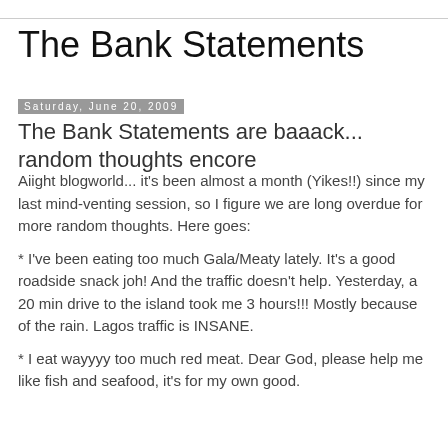The Bank Statements
Saturday, June 20, 2009
The Bank Statements are baaack... random thoughts encore
Aiight blogworld... it's been almost a month (Yikes!!) since my last mind-venting session, so I figure we are long overdue for more random thoughts. Here goes:
* I've been eating too much Gala/Meaty lately. It's a good roadside snack joh! And the traffic doesn't help. Yesterday, a 20 min drive to the island took me 3 hours!!! Mostly because of the rain. Lagos traffic is INSANE.
* I eat wayyyy too much red meat. Dear God, please help me like fish and seafood, it's for my own good.